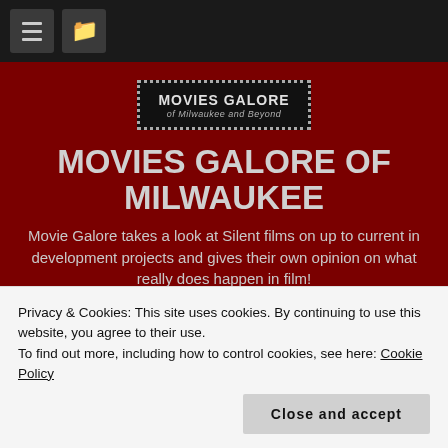Navigation bar with hamburger menu and folder icon
[Figure (logo): Movies Galore of Milwaukee and Beyond logo — black box with dotted border, white text]
MOVIES GALORE OF MILWAUKEE
Movie Galore takes a look at Silent films on up to current in development projects and gives their own opinion on what really does happen in film!
MONTH / NOVEMBER 2016
Movies Galore takes
Privacy & Cookies: This site uses cookies. By continuing to use this website, you agree to their use.
To find out more, including how to control cookies, see here: Cookie Policy